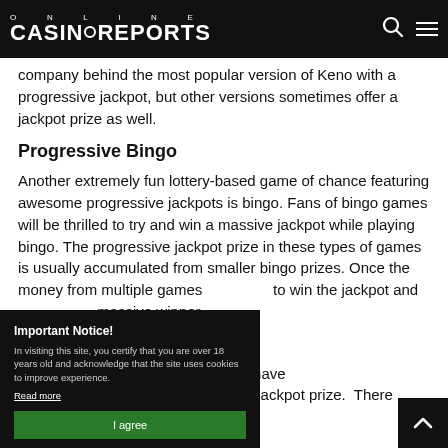ONLINE CASINOREPORTS
company behind the most popular version of Keno with a progressive jackpot, but other versions sometimes offer a jackpot prize as well.
Progressive Bingo
Another extremely fun lottery-based game of chance featuring awesome progressive jackpots is bingo. Fans of bingo games will be thrilled to try and win a massive jackpot while playing bingo. The progressive jackpot prize in these types of games is usually accumulated from smaller bingo prizes. Once the money from multiple games to win the jackpot and massive winner.
Jackpot Winning
n gambles probably have is how to actually win a progressive jackpot prize. There
Important Notice!
In visiting this site, you certify that you are over 18 years old and acknowledge that the site uses cookies to improve experience.
Read more
I agree